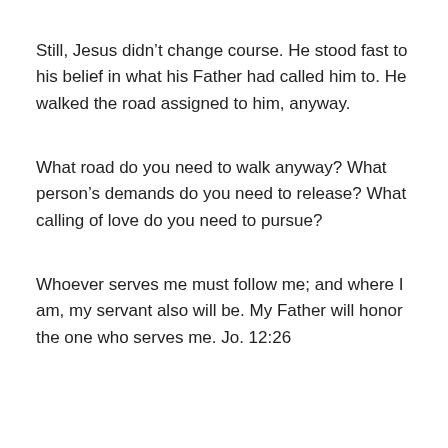Still, Jesus didn’t change course. He stood fast to his belief in what his Father had called him to. He walked the road assigned to him, anyway.
What road do you need to walk anyway? What person’s demands do you need to release? What calling of love do you need to pursue?
Whoever serves me must follow me; and where I am, my servant also will be. My Father will honor the one who serves me. Jo. 12:26